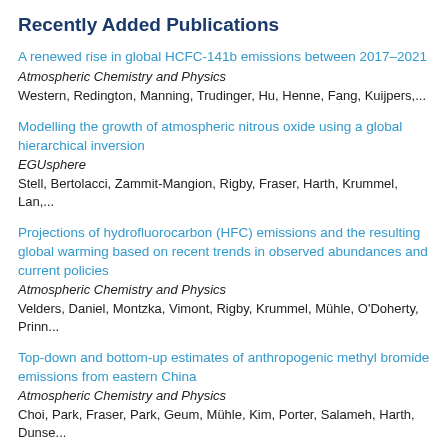Recently Added Publications
A renewed rise in global HCFC-141b emissions between 2017–2021
Atmospheric Chemistry and Physics
Western, Redington, Manning, Trudinger, Hu, Henne, Fang, Kuijpers,...
Modelling the growth of atmospheric nitrous oxide using a global hierarchical inversion
EGUsphere
Stell, Bertolacci, Zammit-Mangion, Rigby, Fraser, Harth, Krummel, Lan,...
Projections of hydrofluorocarbon (HFC) emissions and the resulting global warming based on recent trends in observed abundances and current policies
Atmospheric Chemistry and Physics
Velders, Daniel, Montzka, Vimont, Rigby, Krummel, Mühle, O'Doherty, Prinn...
Top-down and bottom-up estimates of anthropogenic methyl bromide emissions from eastern China
Atmospheric Chemistry and Physics
Choi, Park, Fraser, Park, Geum, Mühle, Kim, Porter, Salameh, Harth, Dunse...
Forward and Inverse Modelling of Atmospheric Nitrous Oxide